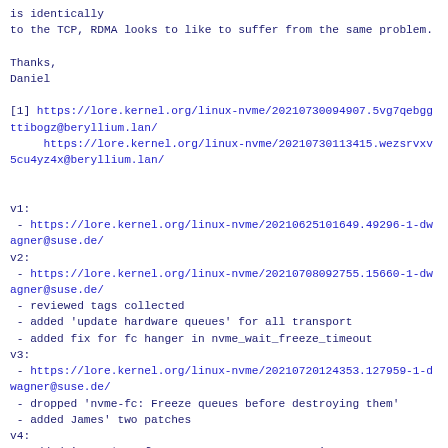is identically
to the TCP, RDMA looks to like to suffer from the same problem.
Thanks,
Daniel
[1] https://lore.kernel.org/linux-nvme/20210730094907.5vg7qebggttibogz@beryllium.lan/
     https://lore.kernel.org/linux-nvme/20210730113415.wezsrvxv5cu4yz4x@beryllium.lan/
v1:
 - https://lore.kernel.org/linux-nvme/20210625101649.49296-1-dwagner@suse.de/
v2:
 - https://lore.kernel.org/linux-nvme/20210708092755.15660-1-dwagner@suse.de/
 - reviewed tags collected
 - added 'update hardware queues' for all transport
 - added fix for fc hanger in nvme_wait_freeze_timeout
v3:
 - https://lore.kernel.org/linux-nvme/20210720124353.127959-1-dwagner@suse.de/
 - dropped 'nvme-fc: Freeze queues before destroying them'
 - added James' two patches
v4:
 - added 'nvme-*: Unfreeze queues on reconnect'